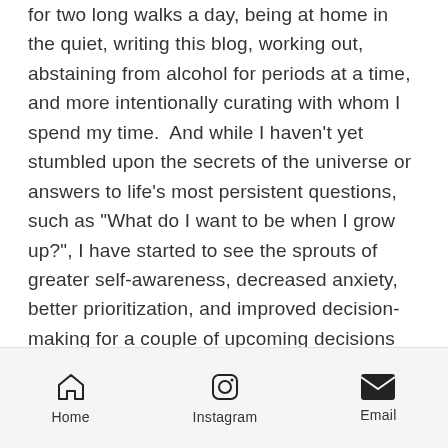for two long walks a day, being at home in the quiet, writing this blog, working out, abstaining from alcohol for periods at a time, and more intentionally curating with whom I spend my time.  And while I haven't yet stumbled upon the secrets of the universe or answers to life's most persistent questions, such as "What do I want to be when I grow up?", I have started to see the sprouts of greater self-awareness, decreased anxiety, better prioritization, and improved decision-making for a couple of upcoming decisions that have significant financial implications.  So, I'll take these small wins as evidence that I'm on the right path and that I'm operating in flow, and not hasten for myself an exodus that's ill-advised, poorly
Home  Instagram  Email